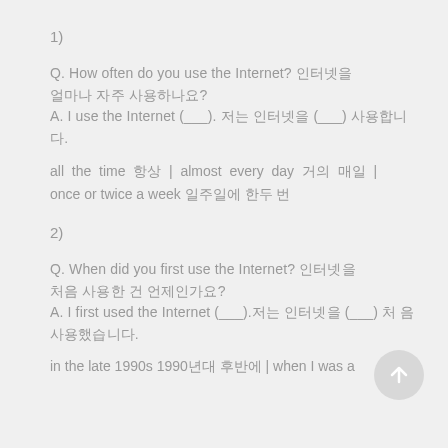1)
Q. How often do you use the Internet? 인터넷을 얼마나 자주 사용하나요?
A. I use the Internet (___). 저는 인터넷을 (___) 사용합니다.
all the time 항상 | almost every day 거의 매일 | once or twice a week 일주일에 한두 번
2)
Q. When did you first use the Internet? 인터넷을 처음 사용한 건 언제인가요?
A. I first used the Internet (___).저는 인터넷을 (___) 처음 사용했습니다.
in the late 1990s 1990년대 후반에 | when I was a